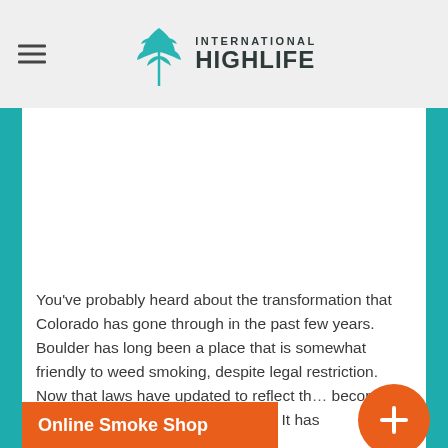International Highlife
[Figure (illustration): White placeholder image area within teal-bordered content region]
You’ve probably heard about the transformation that Colorado has gone through in the past few years. Boulder has long been a place that is somewhat friendly to weed smoking, despite legal restriction. Now that laws have updated to reflect th... become a very cannabis-friendly place to live. It has
Online Smoke Shop